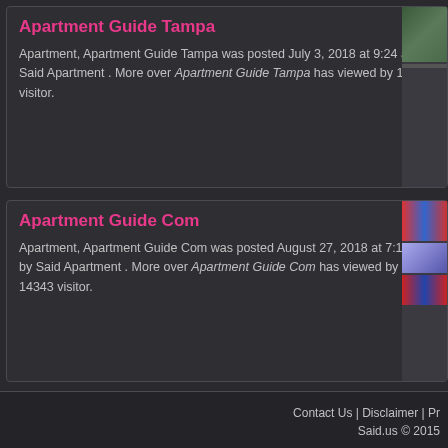Apartment Guide Tampa
Apartment, Apartment Guide Tampa was posted July 3, 2018 at 9:24 am by Said Apartment . More over Apartment Guide Tampa has viewed by 14319 visitor.
Apartment Guide Com
Apartment, Apartment Guide Com was posted August 27, 2018 at 7:10 pm by Said Apartment . More over Apartment Guide Com has viewed by 14343 visitor.
Contact Us | Disclaimer | Pr... Said.us © 2015